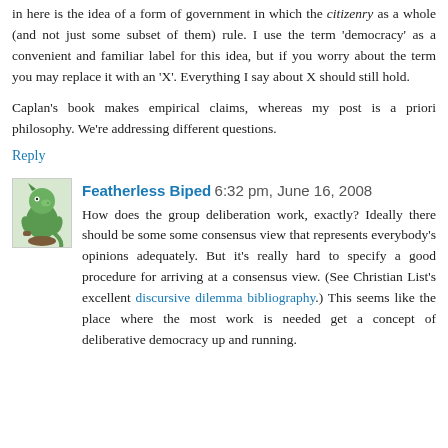in here is the idea of a form of government in which the citizenry as a whole (and not just some subset of them) rule. I use the term 'democracy' as a convenient and familiar label for this idea, but if you worry about the term you may replace it with an 'X'. Everything I say about X should still hold.
Caplan's book makes empirical claims, whereas my post is a priori philosophy. We're addressing different questions.
Reply
Featherless Biped  6:32 pm, June 16, 2008
How does the group deliberation work, exactly? Ideally there should be some some consensus view that represents everybody's opinions adequately. But it's really hard to specify a good procedure for arriving at a consensus view. (See Christian List's excellent discursive dilemma bibliography.) This seems like the place where the most work is needed get a concept of deliberative democracy up and running.